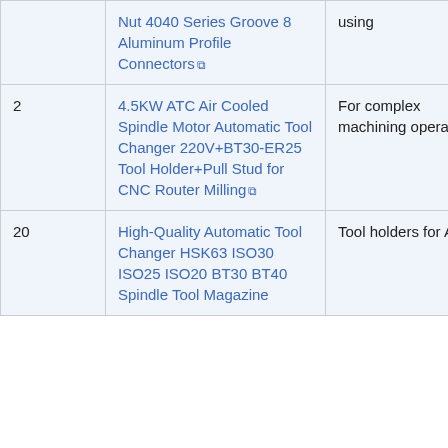|  | Nut 4040 Series Groove 8 Aluminum Profile Connectors [ext] | using |  |  |
| 2 | 4.5KW ATC Air Cooled Spindle Motor Automatic Tool Changer 220V+BT30-ER25 Tool Holder+Pull Stud for CNC Router Milling [ext] | For complex machining operations | $1,546.09 ea | $3092 |
| 20 | High-Quality Automatic Tool Changer HSK63 ISO30 ISO25 ISO20 BT30 BT40 Spindle Tool Magazine... | Tool holders for ATC | $5 ea | $100 |